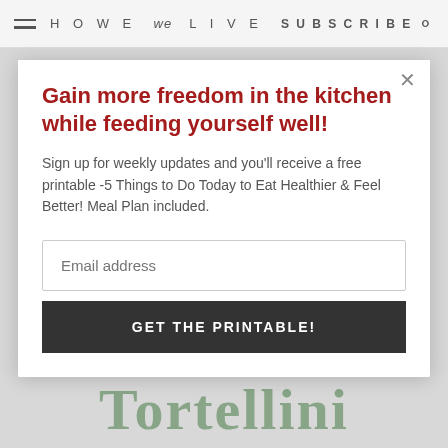HOWE we LIVE  SUBSCRIBE
Gain more freedom in the kitchen while feeding yourself well!
Sign up for weekly updates and you'll receive a free printable -5 Things to Do Today to Eat Healthier & Feel Better! Meal Plan included.
Email address
GET THE PRINTABLE!
Tortellini